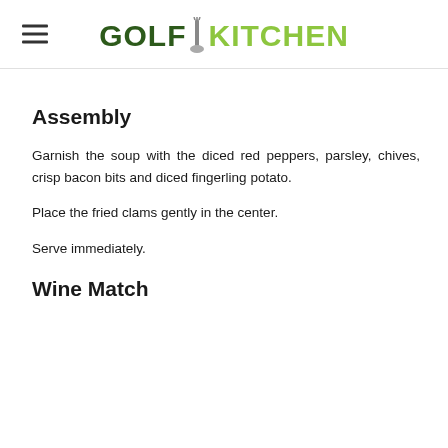GOLF KITCHEN
Assembly
Garnish the soup with the diced red peppers, parsley, chives, crisp bacon bits and diced fingerling potato.
Place the fried clams gently in the center.
Serve immediately.
Wine Match